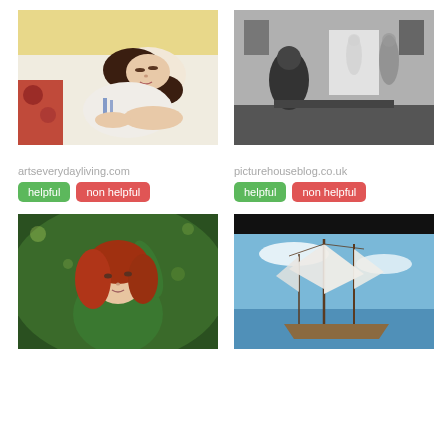[Figure (illustration): Pastel painting of a dark-haired woman lying down resting on a pillow, with yellow floral wallpaper background, wearing white dress with blue details]
[Figure (photo): Black and white photograph of an interior studio or gallery room with figures, some translucent/ghostly, and art on walls]
artseverydayliving.com
helpful
non helpful
picturehouseblog.co.uk
helpful
non helpful
[Figure (photo): Color photo of a young red-haired woman in a green dress lying in green foliage/grass]
[Figure (illustration): Painting of a tall sailing ship with white sails against a blue sky, with black border at top]